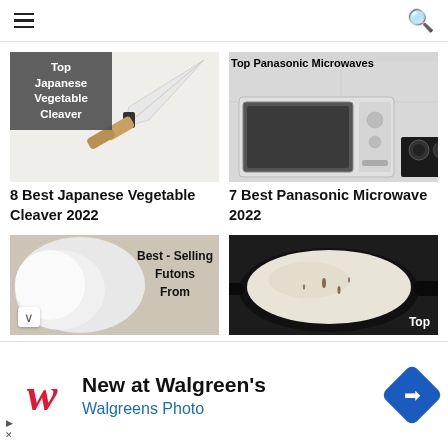Navigation menu and search icon
[Figure (photo): Japanese vegetable cleaver knife on light background with dark gray overlay text reading 'Top Japanese Vegetable Cleaver']
[Figure (photo): Panasonic microwave on counter with text 'Top Panasonic Microwaves' overlaid at top]
8 Best Japanese Vegetable Cleaver 2022
7 Best Panasonic Microwave 2022
[Figure (photo): White futon or bedding with 'Best - Selling Futons From' text overlay]
[Figure (photo): Black cast iron pan with rice and text 'Top' in bottom right corner]
New at Walgreen's Walgreens Photo